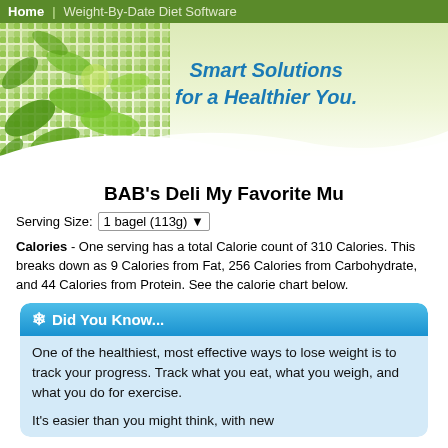Home | Weight-By-Date Diet Software
[Figure (illustration): Green decorative header banner with checkered leaf pattern on the left and 'Smart Solutions for a Healthier You.' tagline on the right, with white swoosh wave at bottom]
BAB's Deli My Favorite Mu
Serving Size: 1 bagel (113g)
Calories - One serving has a total Calorie count of 310 Calories. This breaks down as 9 Calories from Fat, 256 Calories from Carbohydrate, and 44 Calories from Protein. See the calorie chart below.
Did You Know...
One of the healthiest, most effective ways to lose weight is to track your progress. Track what you eat, what you weigh, and what you do for exercise.

It's easier than you might think, with new